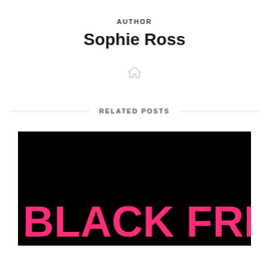AUTHOR
Sophie Ross
[Figure (illustration): Small home/house icon in light gray]
RELATED POSTS
[Figure (photo): Black background with large bold hot-pink text reading 'BLACK FRIDAY' (partially cropped on the right)]